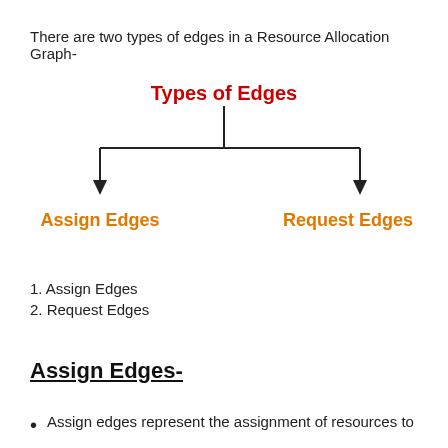There are two types of edges in a Resource Allocation Graph-
[Figure (organizational-chart): Hierarchical diagram showing 'Types of Edges' (in red, bold) at the top, with two branches via arrows pointing down-left to 'Assign Edges' (orange, bold) and down-right to 'Request Edges' (orange, bold).]
1. Assign Edges
2. Request Edges
Assign Edges-
Assign edges represent the assignment of resources to